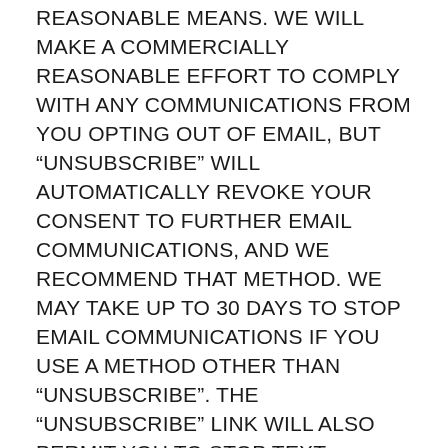REASONABLE MEANS. WE WILL MAKE A COMMERCIALLY REASONABLE EFFORT TO COMPLY WITH ANY COMMUNICATIONS FROM YOU OPTING OUT OF EMAIL, BUT “UNSUBSCRIBE” WILL AUTOMATICALLY REVOKE YOUR CONSENT TO FURTHER EMAIL COMMUNICATIONS, AND WE RECOMMEND THAT METHOD. WE MAY TAKE UP TO 30 DAYS TO STOP EMAIL COMMUNICATIONS IF YOU USE A METHOD OTHER THAN “UNSUBSCRIBE”. THE “UNSUBSCRIBE” LINK WILL ALSO PERMIT YOU TO STOP TEXT COMMUNICATIONS.**
COMMUNICATION FREQUENCY**. HOW OFTEN WE SEND YOU COMMUNICATIONS WILL VARY,